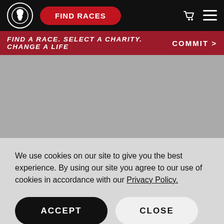[Figure (logo): Spartan Race helmet logo in white circle on black navbar, with FIND RACES red button, cart icon and hamburger menu]
FIND A RACE. SELECT A CHARITY. CHANGE A LIFE    COMMIT >
[Figure (screenshot): Gray placeholder content area]
We use cookies on our site to give you the best experience. By using our site you agree to our use of cookies in accordance with our Privacy Policy.
ACCEPT
CLOSE